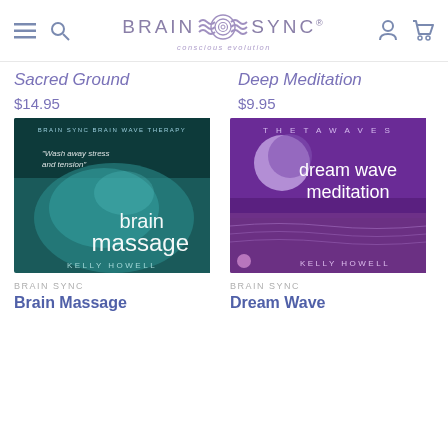BRAIN SYNC — conscious evolution
Sacred Ground
$14.95
Deep Meditation
$9.95
[Figure (photo): Brain Massage album cover — teal/cyan tones showing a person relaxing, text: brain massage, Kelly Howell, Brain Wave Therapy]
[Figure (photo): Dream Wave Meditation album cover — purple tones with moon over ocean, Theta Waves, Kelly Howell]
BRAIN SYNC
Brain Massage
BRAIN SYNC
Dream Wave